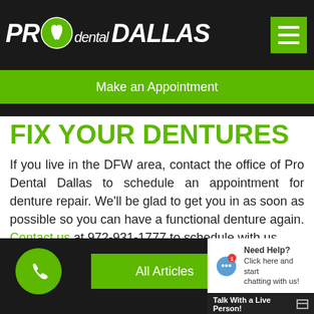[Figure (logo): PRO dental DALLAS logo with tooth icon, white text on dark background]
Make an Appointment
FIX YOUR DENTURES
If you live in the DFW area, contact the office of Pro Dental Dallas to schedule an appointment for denture repair. We'll be glad to get you in as soon as possible so you can have a functional denture again. Contact us at 972-931-1777 to schedule with us.
All Articles
Need Help? Click here and start chatting with us!
Talk With a Live Person!